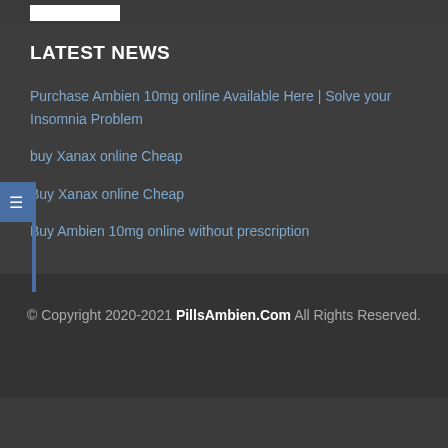[Figure (logo): White logo placeholder rectangle in top bar]
LATEST NEWS
Purchase Ambien 10mg online Available Here | Solve your Insomnia Problem
buy Xanax online Cheap
Buy Xanax online Cheap
Buy Ambien 10mg online without prescription
© Copyright 2020-2021 PillsAmbien.Com All Rights Reserved.